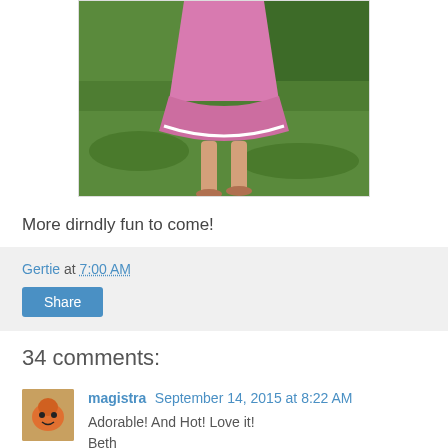[Figure (photo): Bottom half of a child in a pink dirndl dress running on grass, wearing sandals]
More dirndly fun to come!
Gertie at 7:00 AM
Share
34 comments:
magistra September 14, 2015 at 8:22 AM
Adorable! And Hot! Love it!
Beth
Reply